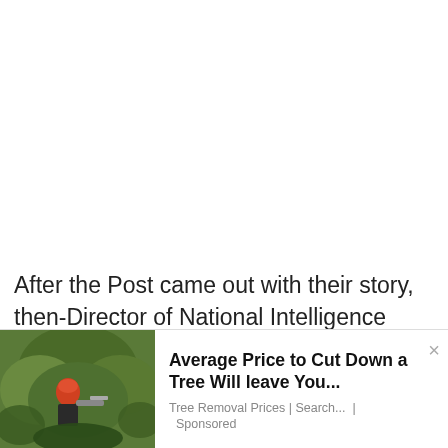After the Post came out with their story, then-Director of National Intelligence John Ratcliffe was vocal about the laptop NOT being “Russian disinformation.” The
[Figure (photo): Advertisement banner showing a person in safety gear cutting a tree with a chainsaw, with green foliage in background. Ad headline: 'Average Price to Cut Down a Tree Will leave You...' Source: Tree Removal Prices | Search... | Sponsored]